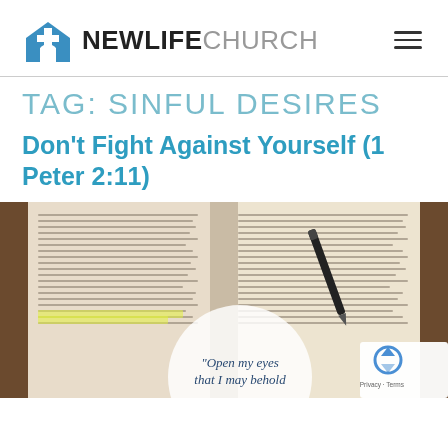NEW LIFE CHURCH
TAG: SINFUL DESIRES
Don't Fight Against Yourself (1 Peter 2:11)
[Figure (photo): Open Bible with highlighted text and a pen resting on it. A circular overlay reads 'Open my eyes that I may behold']